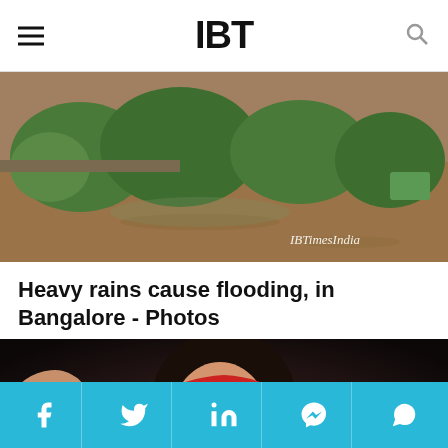IBT
[Figure (photo): Aerial view of flooded area in Bangalore with trees submerged in brown floodwater, IBTimesIndia watermark visible]
Heavy rains cause flooding, in Bangalore - Photos
[Figure (photo): Young girl with red headband in boxing stance, dark background]
Social share bar with Facebook, Twitter, LinkedIn, Messenger, WhatsApp icons